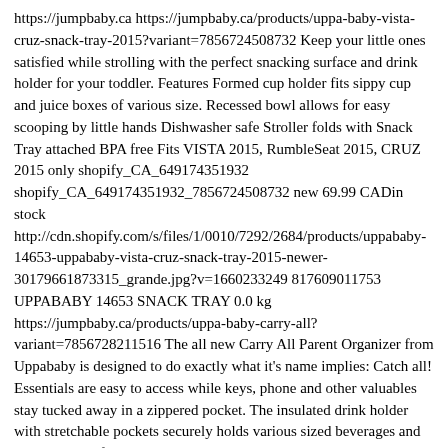https://jumpbaby.ca https://jumpbaby.ca/products/uppa-baby-vista-cruz-snack-tray-2015?variant=7856724508732 Keep your little ones satisfied while strolling with the perfect snacking surface and drink holder for your toddler. Features Formed cup holder fits sippy cup and juice boxes of various size. Recessed bowl allows for easy scooping by little hands Dishwasher safe Stroller folds with Snack Tray attached BPA free Fits VISTA 2015, RumbleSeat 2015, CRUZ 2015 only shopify_CA_649174351932 shopify_CA_649174351932_7856724508732 new 69.99 CADin stock http://cdn.shopify.com/s/files/1/0010/7292/2684/products/uppababy-14653-uppababy-vista-cruz-snack-tray-2015-newer-30179661873315_grande.jpg?v=1660233249 817609011753 UPPABABY 14653 SNACK TRAY 0.0 kg https://jumpbaby.ca/products/uppa-baby-carry-all?variant=7856728211516 The all new Carry All Parent Organizer from Uppababy is designed to do exactly what it's name implies: Catch all! Essentials are easy to access while keys, phone and other valuables stay tucked away in a zippered pocket. The insulated drink holder with stretchable pockets securely holds various sized beverages and bottles. Made for ALL Uppababy Strollers. shopify_CA_649174679612 shopify_CA_649174679612_7856728211516 new 49.99 CADin stock http://cdn.shopify.com/s/files/1/0010/7292/2684/products/UPPAbaby